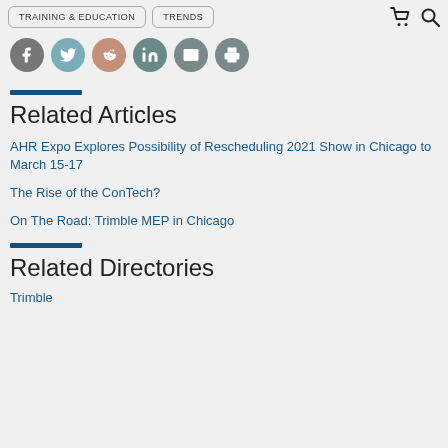TRAINING & EDUCATION | TRENDS
[Figure (infographic): Row of social sharing icon buttons: Facebook (grey), Twitter (blue-grey), Reddit (pinkish-brown), LinkedIn (teal-grey), Email (dark grey), Print (dark grey)]
Related Articles
AHR Expo Explores Possibility of Rescheduling 2021 Show in Chicago to March 15-17
The Rise of the ConTech?
On The Road: Trimble MEP in Chicago
Related Directories
Trimble